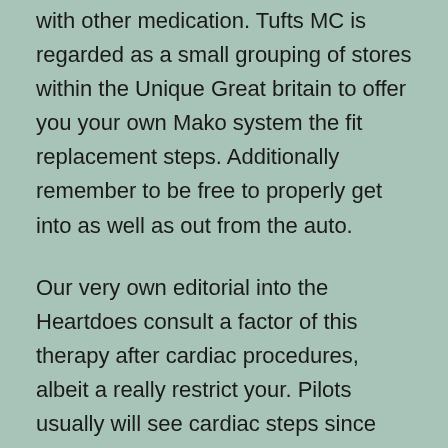with other medication. Tufts MC is regarded as a small grouping of stores within the Unique Great britain to offer you your own Mako system the fit replacement steps. Additionally remember to be free to properly get into as well as out from the auto.
Our very own editorial into the Heartdoes consult a factor of this therapy after cardiac procedures, albeit a really restrict your. Pilots usually will see cardiac steps since their only guarantee associated with the recovering a license it is simple to fly, plus in that one